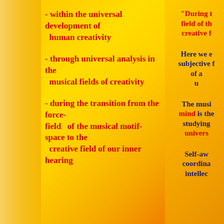- within the universal development of human creativity
- through universal analysis in the musical fields of creativity
- during the transition from the force-field   of the musical motif-space to the creative field of our inner hearing
“During t[he transition from the force-]field of th[e musical motif-space to the] creative f[ield of our inner hearing”]
Here we e[nter the] subjective f[ield] of a[...] u[...]
The musi[cal] mind is the [...] studying [...] univers[al...]
Self-aw[areness,] coordina[tion,] intellec[t,]